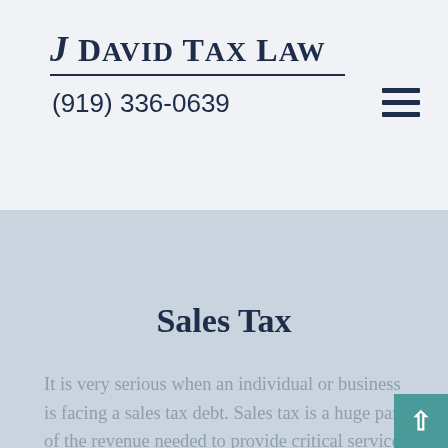J David Tax Law (919) 336-0639
Sales Tax
It is very serious when an individual or business is facing a sales tax debt. Sales tax is a huge part of the revenue needed to provide critical services in all 50 States. Many people don't realize that in states